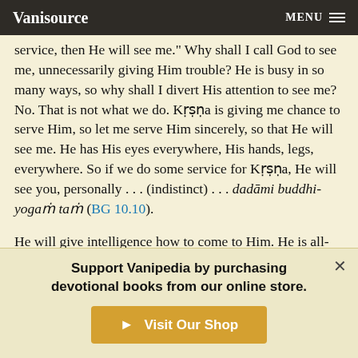Vanisource | MENU
service, then He will see me." Why shall I call God to see me, unnecessarily giving Him trouble? He is busy in so many ways, so why shall I divert His attention to see me? No. That is not what we do. Kṛṣṇa is giving me chance to serve Him, so let me serve Him sincerely, so that He will see me. He has His eyes everywhere, His hands, legs, everywhere. So if we do some service for Kṛṣṇa, He will see you, personally . . . (indistinct) . . . dadāmi buddhi-yogaṁ taṁ (BG 10.10).
He will give intelligence how to come to Him. He is all-pervading; everywhere He is present. And you can see Him also
Support Vanipedia by purchasing devotional books from our online store.
Visit Our Shop